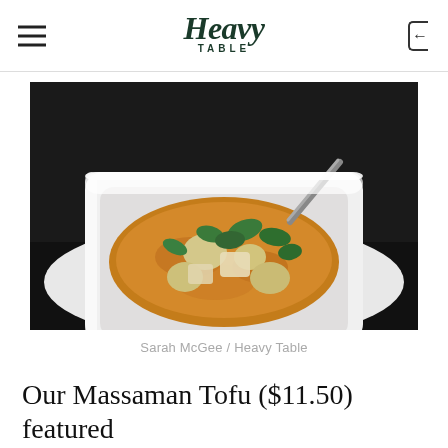Heavy Table
[Figure (photo): A white square bowl filled with Massaman Tofu curry — golden/orange broth with chunks of tofu, potato, and green bell pepper pieces, with a spoon handle visible in the upper right. Close-up food photography on a dark background.]
Sarah McGee / Heavy Table
Our Massaman Tofu ($11.50) featured